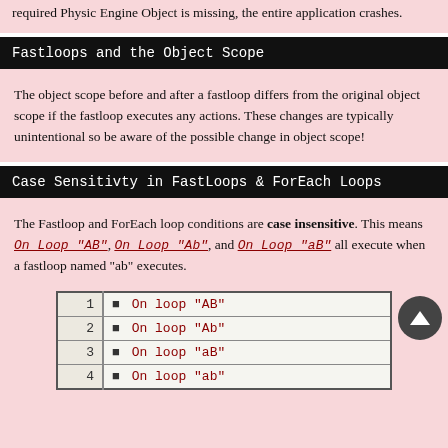required Physic Engine Object is missing, the entire application crashes.
Fastloops and the Object Scope
The object scope before and after a fastloop differs from the original object scope if the fastloop executes any actions. These changes are typically unintentional so be aware of the possible change in object scope!
Case Sensitivty in FastLoops & ForEach Loops
The Fastloop and ForEach loop conditions are case insensitive. This means On Loop "AB", On Loop "Ab", and On Loop "aB" all execute when a fastloop named "ab" executes.
| # | Code |
| --- | --- |
| 1 | ■  On loop "AB" |
| 2 | ■  On loop "Ab" |
| 3 | ■  On loop "aB" |
| 4 | ■  On loop "ab" |